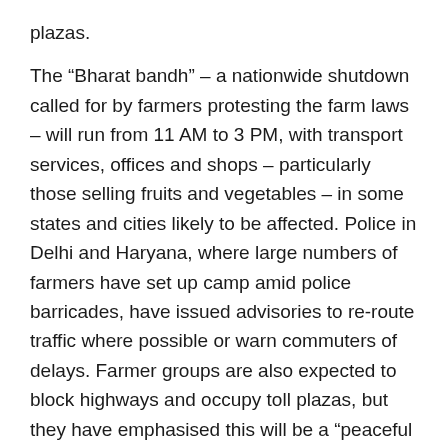plazas.
The “Bharat bandh” – a nationwide shutdown called for by farmers protesting the farm laws – will run from 11 AM to 3 PM, with transport services, offices and shops – particularly those selling fruits and vegetables – in some states and cities likely to be affected. Police in Delhi and Haryana, where large numbers of farmers have set up camp amid police barricades, have issued advisories to re-route traffic where possible or warn commuters of delays. Farmer groups are also expected to block highways and occupy toll plazas, but they have emphasised this will be a “peaceful protest” and emergency services – like ambulances – will not be stopped or delayed.
Here are top the 10 points on this big story: